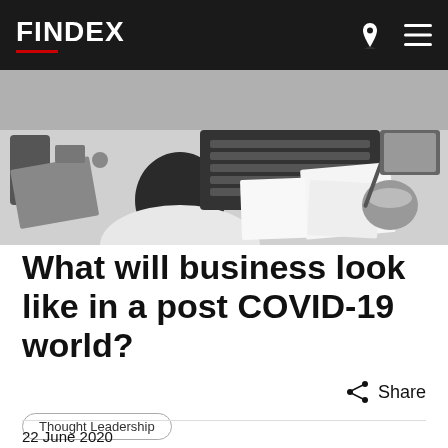FINDEX
[Figure (photo): Black and white overhead photo of a person working at a desk with keyboard, papers, tablet, and coffee cup]
What will business look like in a post COVID-19 world?
Share
Thought Leadership
Technology
22 June 2020